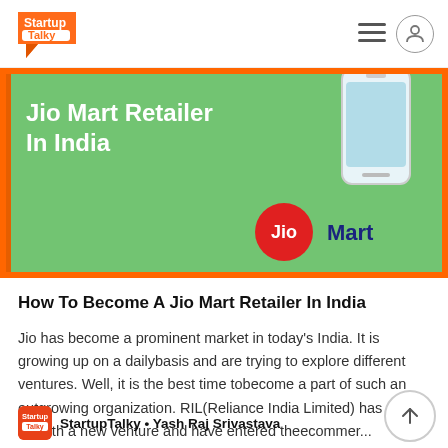StartupTalky
[Figure (illustration): Jio Mart Retailer In India promotional banner with phone graphic and Jio Mart logo on green background with orange border]
How To Become A Jio Mart Retailer In India
Jio has become a prominent market in today's India. It is growing up on a dailybasis and are trying to explore different ventures. Well, it is the best time tobecome a part of such an outgrowing organization. RIL(Reliance India Limited) has come up with a new venture and have entered theecommer...
StartupTalky • Yash Raj Srivastava